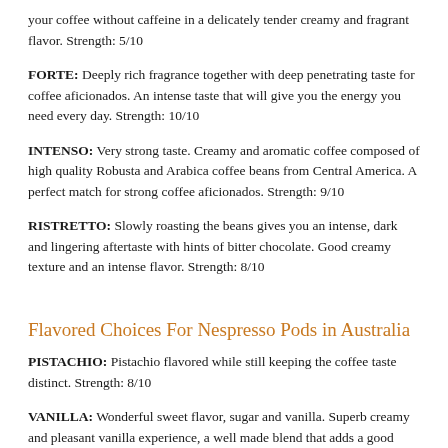your coffee without caffeine in a delicately tender creamy and fragrant flavor. Strength: 5/10
FORTE: Deeply rich fragrance together with deep penetrating taste for coffee aficionados. An intense taste that will give you the energy you need every day. Strength: 10/10
INTENSO: Very strong taste. Creamy and aromatic coffee composed of high quality Robusta and Arabica coffee beans from Central America. A perfect match for strong coffee aficionados. Strength: 9/10
RISTRETTO: Slowly roasting the beans gives you an intense, dark and lingering aftertaste with hints of bitter chocolate. Good creamy texture and an intense flavor. Strength: 8/10
Flavored Choices For Nespresso Pods in Australia
PISTACHIO: Pistachio flavored while still keeping the coffee taste distinct. Strength: 8/10
VANILLA: Wonderful sweet flavor, sugar and vanilla. Superb creamy and pleasant vanilla experience, a well made blend that adds a good aftertaste to your every day coffee. A refreshing taste to add to your usual coffee.